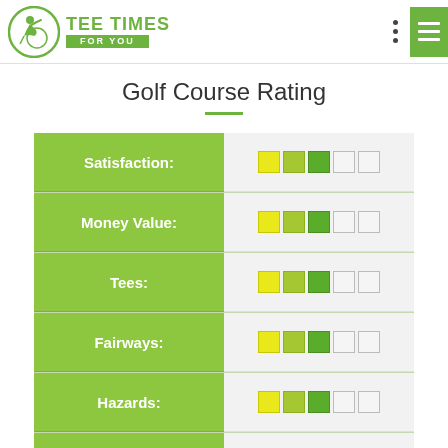TEE TIMES FOR YOU
Golf Course Rating
| Category | Rating |
| --- | --- |
| Satisfaction: | 3/5 |
| Money Value: | 3/5 |
| Tees: | 3/5 |
| Fairways: | 3/5 |
| Hazards: | 3/5 |
| Rough: | 3/5 |